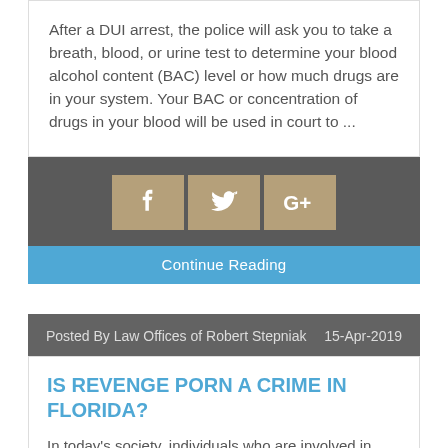After a DUI arrest, the police will ask you to take a breath, blood, or urine test to determine your blood alcohol content (BAC) level or how much drugs are in your system. Your BAC or concentration of drugs in your blood will be used in court to ...
[Figure (other): Social share buttons: Facebook (f), Twitter (bird icon), Google+ (G+) on a dark grey background with tan/gold button backgrounds]
Continue Reading
Posted By Law Offices of Robert Stepniak    15-Apr-2019
IS REVENGE PORN A CRIME IN FLORIDA?
In today's society, individuals who are involved in romantic relationships share their affection for one another through texts, e-mails, and even messaging services on social media platforms such as Facebook, Instagram, and ...